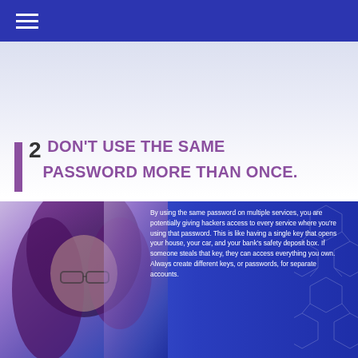N  /  crypto privacy
2 DON'T USE THE SAME PASSWORD MORE THAN ONCE.
[Figure (photo): Person with glasses and long dark hair looking downward, overlaid on a blue gradient background with hexagonal tech pattern]
By using the same password on multiple services, you are potentially giving hackers access to every service where you're using that password. This is like having a single key that opens your house, your car, and your bank's safety deposit box. If someone steals that key, they can access everything you own. Always create different keys, or passwords, for separate accounts.